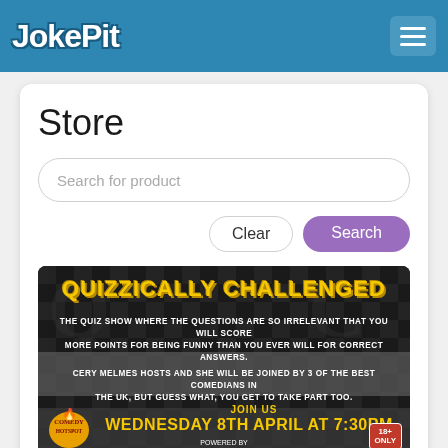JokePit
Store
Search for product
Clear
Search
[Figure (photo): Event flyer for 'Quizzically Challenged' quiz show. Yellow bold title text on dark checkered background. Description: 'The quiz show where the questions are so irrelevant that you will score more points for being funny than you ever will for correct answers. Cery Melmes hosts and she will be joined by 3 of the best comedians in the UK, but guess what, you get to take part too.' Join us Wednesday 8th April at 7:30pm. Powered by JokePit. 18+ only. Comedy Hotspot logo bottom left.]